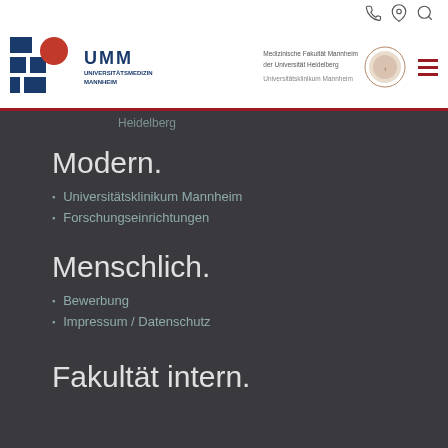[Figure (logo): UMM Universitätsmedizin Mannheim logo with blue geometric icon and red circle]
[Figure (logo): Medizinische Fakultät Mannheim der Universität Heidelberg / Universitätsklinikum Mannheim with circular seal]
Heidelberg
Modern.
Universitätsklinikum Mannheim
Forschungseinrichtungen
Menschlich.
Bewerbung
Impressum / Datenschutz
Fakultät intern.